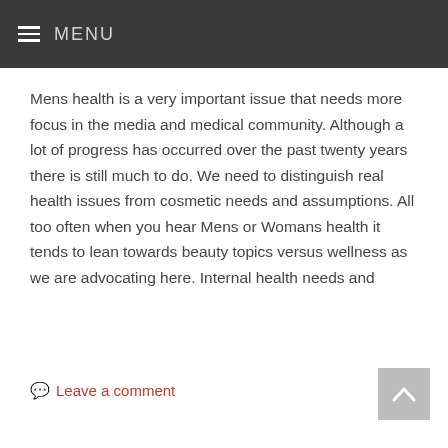MENU
Mens health is a very important issue that needs more focus in the media and medical community. Although a lot of progress has occurred over the past twenty years there is still much to do. We need to distinguish real health issues from cosmetic needs and assumptions. All too often when you hear Mens or Womans health it tends to lean towards beauty topics versus wellness as we are advocating here. Internal health needs and
Leave a comment